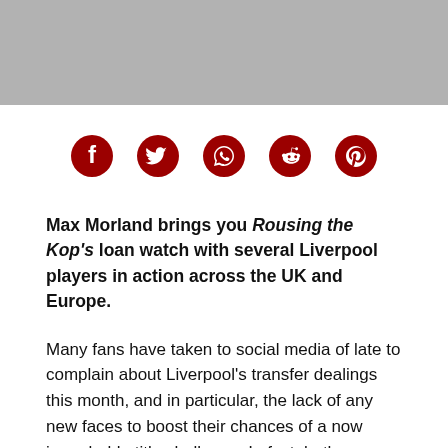[Figure (other): Gray banner image placeholder at top of page]
[Figure (infographic): Social media share icons: Facebook, Twitter, WhatsApp, Reddit, Pinterest — all in dark red/crimson color]
Max Morland brings you Rousing the Kop's loan watch with several Liverpool players in action across the UK and Europe.
Many fans have taken to social media of late to complain about Liverpool's transfer dealings this month, and in particular, the lack of any new faces to boost their chances of a now improbable title challenge. In fact, both